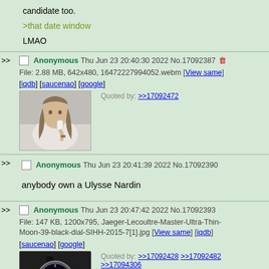candidate too.
>that date window
LMAO
Anonymous Thu Jun 23 20:40:30 2022 No.17092387
File: 2.88 MB, 642x480, 16472227994052.webm [View same] [iqdb] [saucenao] [google]
Quoted by: >>17092472
[image: person drinking]
Anonymous Thu Jun 23 20:41:39 2022 No.17092390
anybody own a Ulysse Nardin
Anonymous Thu Jun 23 20:47:42 2022 No.17092393
File: 147 KB, 1200x795, Jaeger-Lecoultre-Master-Ultra-Thin-Moon-39-black-dial-SIHH-2015-7[1].jpg [View same] [iqdb] [saucenao] [google]
Quoted by: >>17092428 >>17092482 >>17094306
congratulations you guys have